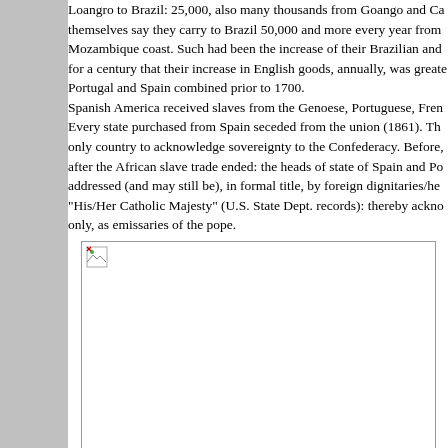Loangro to Brazil: 25,000, also many thousands from Goango and Ca... themselves say they carry to Brazil 50,000 and more every year from... Mozambique coast. Such had been the increase of their Brazilian and... for a century that their increase in English goods, annually, was greate... Portugal and Spain combined prior to 1700. Spanish America received slaves from the Genoese, Portuguese, Fren... Every state purchased from Spain seceded from the union (1861). The... only country to acknowledge sovereignty to the Confederacy. Before,... after the African slave trade ended: the heads of state of Spain and Po... addressed (and may still be), in formal title, by foreign dignitaries/hea... "His/Her Catholic Majesty" (U.S. State Dept. records): thereby ackno... only, as emissaries of the pope.
[Figure (photo): Portrait photograph of John Greenleaf Whittier, shown as a broken image placeholder.]
John Greenleaf Whittier (1807-1892)
Catholic priest's dealing in the African slave trade is testified to, in th... famous nineteenth century poet, J.G. Whittier: A poem, on the slave block in New Orleans.